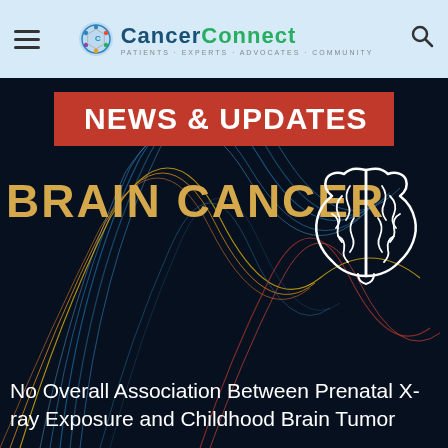CancerConnect — Patients · Experts · Advocates · Community
[Figure (screenshot): CancerConnect website screenshot showing News & Updates banner for Brain Cancer section, with article title: No Overall Association Between Prenatal X-ray Exposure and Childhood Brain Tumor]
NEWS & UPDATES
BRAIN CANCER
No Overall Association Between Prenatal X-ray Exposure and Childhood Brain Tumor